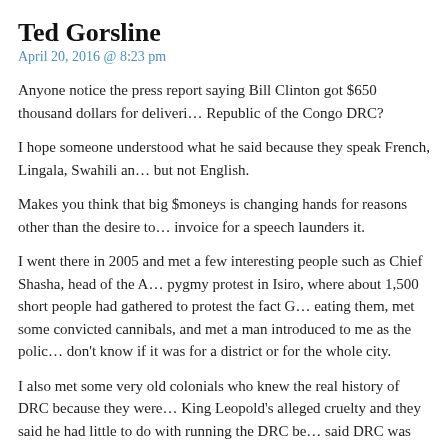Ted Gorsline
April 20, 2016 @ 8:23 pm
Anyone notice the press report saying Bill Clinton got $650 thousand dollars for delivering a speech in the Democratic Republic of the Congo DRC?
I hope someone understood what he said because they speak French, Lingala, Swahili and a host of tribal languages but not English.
Makes you think that big $moneys is changing hands for reasons other than the desire to hear a speech. An invoice for a speech launders it.
I went there in 2005 and met a few interesting people such as Chief Shasha, head of the Amba tribe, attended a pygmy protest in Isiro, where about 1,500 short people had gathered to protest the fact Gorillas (Bantu) were eating them, met some convicted cannibals, and met a man introduced to me as the police chief of Kisangani. I don't know if it was for a district or for the whole city.
I also met some very old colonials who knew the real history of DRC because they were there. I asked them about King Leopold's alleged cruelty and they said he had little to do with running the DRC because they said DRC was and still is run by Jewish concessionaires.
The DRC is the richest country in Africa in terms of natural resources but the people are dirt poor. I asked the chief who runs it today and he said "very tough" (meaning criminal) Jewish diamond dealers.
So I guess if somebody there gave Bill Clinton $650 K to deliver a speech that no one could understand, the money came from rich Jewish diamond dealers for whom he very likely did some kind of a favor.